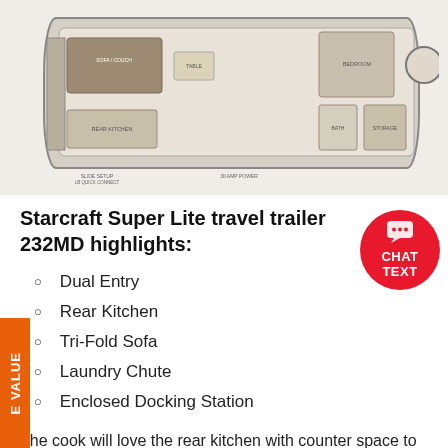[Figure (engineering-diagram): Floor plan / layout diagram of Starcraft Super Lite travel trailer 232MD showing interior room arrangement from above, including sofa, kitchen, bedroom, bathroom and storage areas.]
Starcraft Super Lite travel trailer 232MD highlights:
Dual Entry
Rear Kitchen
Tri-Fold Sofa
Laundry Chute
Enclosed Docking Station
The cook will love the rear kitchen with counter space to prepare and serve meals, a single basin stainless steel under-mount kitchen sink with a residential high-rise faucet with pull-down